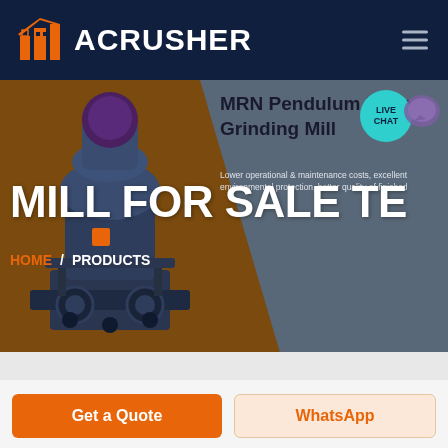[Figure (logo): ACRUSHER logo with orange building/factory icon and white bold text on dark navy background]
[Figure (screenshot): Website hero section for ACRUSHER showing a grinding mill machine on brown/grey diagonal background with text 'MILL FOR SALE TE' and 'MRN Pendulum Roller Grinding Mill' with HOME / PRODUCTS breadcrumb]
Get a Quote
WhatsApp